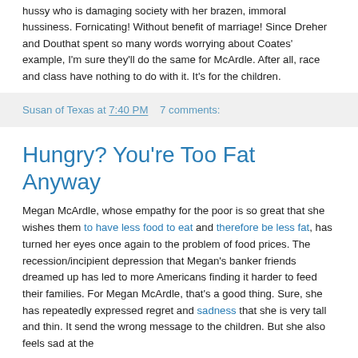hussy who is damaging society with her brazen, immoral hussiness. Fornicating! Without benefit of marriage! Since Dreher and Douthat spent so many words worrying about Coates' example, I'm sure they'll do the same for McArdle. After all, race and class have nothing to do with it. It's for the children.
Susan of Texas at 7:40 PM    7 comments:
Hungry? You're Too Fat Anyway
Megan McArdle, whose empathy for the poor is so great that she wishes them to have less food to eat and therefore be less fat, has turned her eyes once again to the problem of food prices. The recession/incipient depression that Megan's banker friends dreamed up has led to more Americans finding it harder to feed their families. For Megan McArdle, that's a good thing. Sure, she has repeatedly expressed regret and sadness that she is very tall and thin. It send the wrong message to the children. But she also feels sad at the